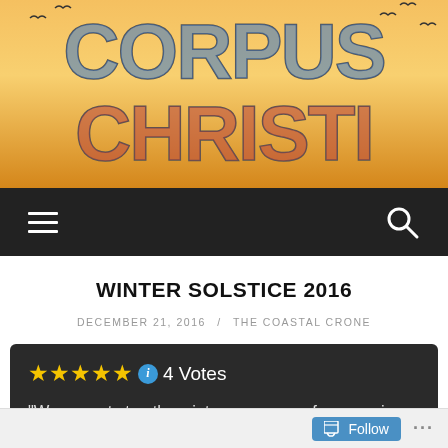[Figure (photo): Corpus Christi city sign mural with colorful lettering on orange/sunset background with birds and sailboats]
[Figure (screenshot): Dark navigation bar with hamburger menu icon on left and search magnifying glass icon on right]
WINTER SOLSTICE 2016
DECEMBER 21, 2016 / THE COASTAL CRONE
★★★★★ ℹ 4 Votes
"We cannot stop the winter or summer from coming. We cannot stop the spring or fall of
Follow ...